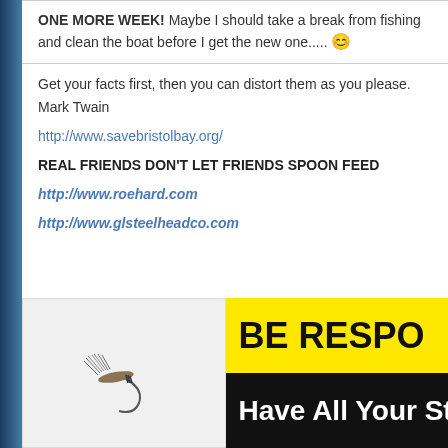ONE MORE WEEK! Maybe I should take a break from fishing and clean the boat before I get the new one..... 😊
Get your facts first, then you can distort them as you please.
Mark Twain
http://www.savebristolbay.org/
REAL FRIENDS DON'T LET FRIENDS SPOON FEED
http://www.roehard.com
http://www.glsteelheadco.com
[Figure (photo): Left half shows a fishing fly lure on white background. Right half shows a yellow sign reading 'BE RESPO' and a black sign reading 'Have All Your Ste']